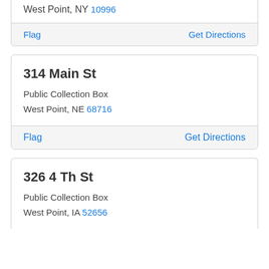West Point, NY 10996
Flag    Get Directions
314 Main St
Public Collection Box
West Point, NE 68716
Flag    Get Directions
326 4 Th St
Public Collection Box
West Point, IA 52656